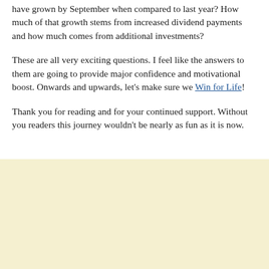have grown by September when compared to last year? How much of that growth stems from increased dividend payments and how much comes from additional investments?
These are all very exciting questions. I feel like the answers to them are going to provide major confidence and motivational boost. Onwards and upwards, let’s make sure we Win for Life!
Thank you for reading and for your continued support. Without you readers this journey wouldn’t be nearly as fun as it is now.